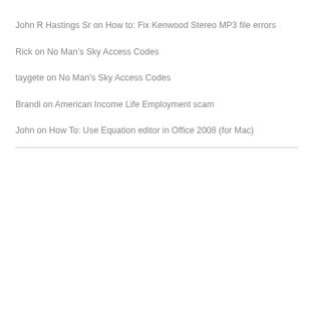John R Hastings Sr on How to: Fix Kenwood Stereo MP3 file errors
Rick on No Man’s Sky Access Codes
taygete on No Man’s Sky Access Codes
Brandi on American Income Life Employment scam
John on How To: Use Equation editor in Office 2008 (for Mac)